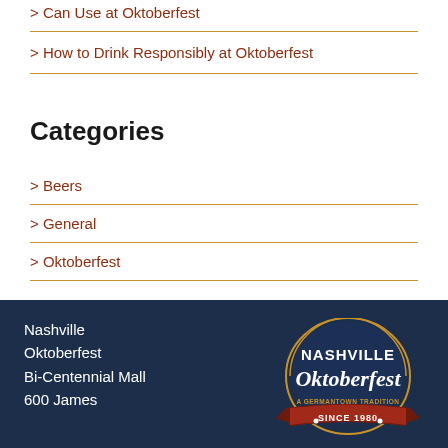Can Use at Oktoberfest
How to Drink Responsibly at Oktoberfest
Categories
Beers
General
Oktoberfest
Nashville Oktoberfest
Bi-Centennial Mall
600 James
[Figure (logo): Nashville Oktoberfest logo — A Germantown Tradition Since 1980, shield/badge shape with ribbon]